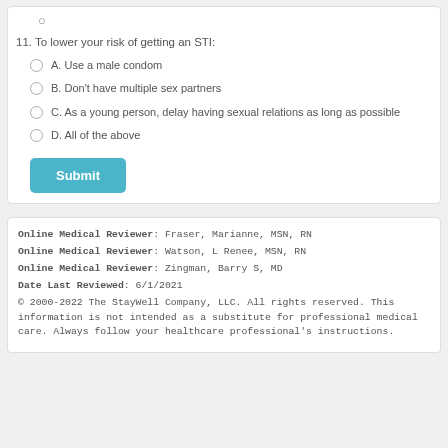11. To lower your risk of getting an STI:
A. Use a male condom
B. Don't have multiple sex partners
C. As a young person, delay having sexual relations as long as possible
D. All of the above
Submit
Online Medical Reviewer: Fraser, Marianne, MSN, RN
Online Medical Reviewer: Watson, L Renee, MSN, RN
Online Medical Reviewer: Zingman, Barry S, MD
Date Last Reviewed: 6/1/2021
© 2000-2022 The StayWell Company, LLC. All rights reserved. This information is not intended as a substitute for professional medical care. Always follow your healthcare professional's instructions.